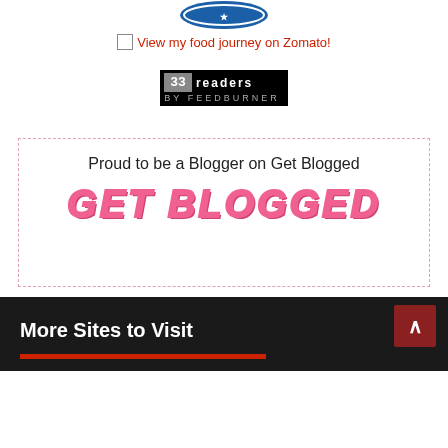[Figure (logo): Zomato badge/logo at top (partially visible, blue circular badge)]
View my food journey on Zomato!
[Figure (logo): FeedBurner widget showing 33 readers]
[Figure (other): Get Blogged promotional box with dashed pink border containing text 'Proud to be a Blogger on Get Blogged' and GET BLOGGED logo in pink italic bold font]
More Sites to Visit